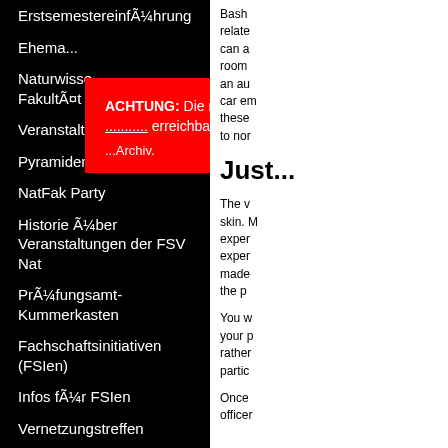ErstsemestereinführungÃ¼hrung
Ehema...
Naturwisse... FakultÃ¤t
Veranstaltungen
Pyramiden Konferenz
NatFak Party
Historie Ã¼ber Veranstaltungen der FSV Nat
PrÃ¼fungsamt-Kummerkasten
Fachschaftsinitiativen (FSIen)
Infos fÃ¼r FSIen
Vernetzungstreffen
Haushaltsmittel
Sitzungen und Protokalle
ACHTUNG: Die neue Stuve-Webseite ist unter [link] erreichbar. Hier ist nur noch ...Archiv. X
Bash... relate... can a... room ... an au... car em... these... to nor...
Just...
The v... skin. M... exper... exper... made... the p...
You w... your p... rather... partic...
Once ... officer...